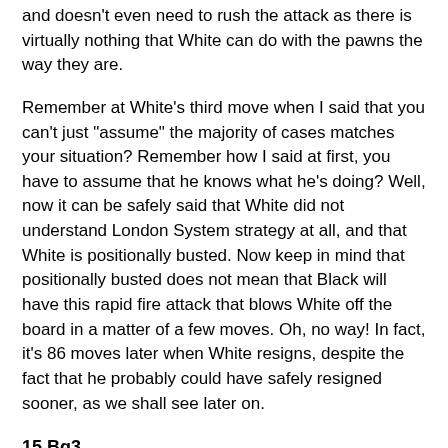and doesn't even need to rush the attack as there is virtually nothing that White can do with the pawns the way they are.
Remember at White's third move when I said that you can't just "assume" the majority of cases matches your situation? Remember how I said at first, you have to assume that he knows what he's doing? Well, now it can be safely said that White did not understand London System strategy at all, and that White is positionally busted. Now keep in mind that positionally busted does not mean that Black will have this rapid fire attack that blows White off the board in a matter of a few moves. Oh, no way! In fact, it's 86 moves later when White resigns, despite the fact that he probably could have safely resigned sooner, as we shall see later on.
15.Bg3
The least of the evils for White, but even according to artificial intelligence, Black's position is up a full pawn in value already, and we are only 15 moves into the game.
15...f5 16.h3